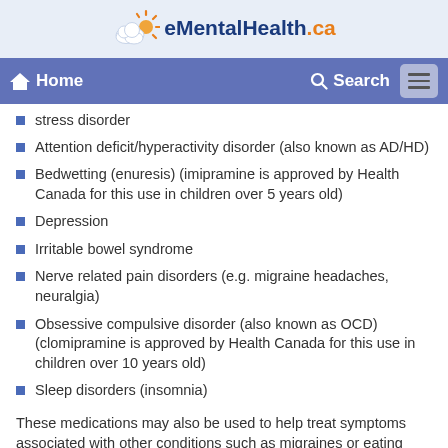[Figure (logo): eMentalHealth.ca logo with sun and cloud icon]
Home | Search | Menu navigation bar
stress disorder
Attention deficit/hyperactivity disorder (also known as AD/HD)
Bedwetting (enuresis) (imipramine is approved by Health Canada for this use in children over 5 years old)
Depression
Irritable bowel syndrome
Nerve related pain disorders (e.g. migraine headaches, neuralgia)
Obsessive compulsive disorder (also known as OCD) (clomipramine is approved by Health Canada for this use in children over 10 years old)
Sleep disorders (insomnia)
These medications may also be used to help treat symptoms associated with other conditions such as migraines or eating